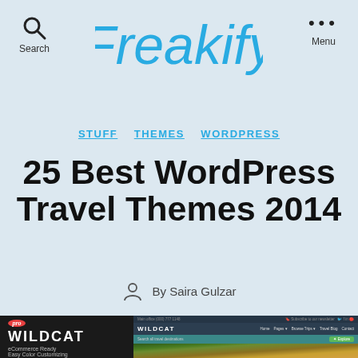Freakify — Search | Menu
STUFF   THEMES   WORDPRESS
25 Best WordPress Travel Themes 2014
By Saira Gulzar
[Figure (screenshot): Screenshot of the Wildcat WordPress travel theme showing a dark sidebar with the Wildcat logo and Pro badge, and the theme's website interface with navigation, search bar, and a tiger image preview.]